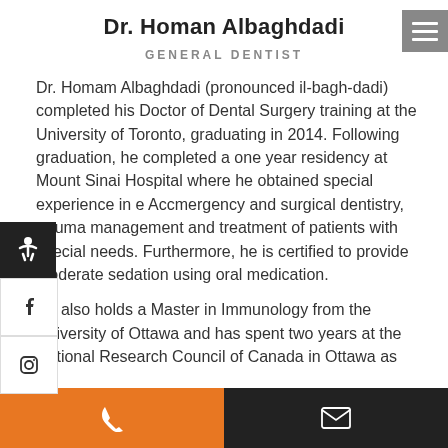Dr. Homan Albaghdadi
GENERAL DENTIST
Dr. Homam Albaghdadi (pronounced il-bagh-dadi) completed his Doctor of Dental Surgery training at the University of Toronto, graduating in 2014. Following graduation, he completed a one year residency at Mount Sinai Hospital where he obtained special experience in e Accmergency and surgical dentistry, trauma management and treatment of patients with special needs. Furthermore, he is certified to provide moderate sedation using oral medication.
He also holds a Master in Immunology from the University of Ottawa and has spent two years at the National Research Council of Canada in Ottawa as